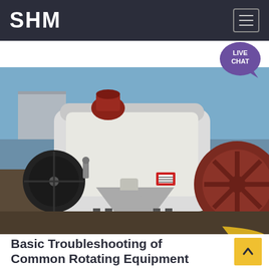SHM
[Figure (photo): Photograph of industrial rotating equipment (crusher/mill) — large white metal housing with belt pulleys and a large red flywheel visible, photographed outdoors in an equipment yard]
Basic Troubleshooting of Common Rotating Equipment